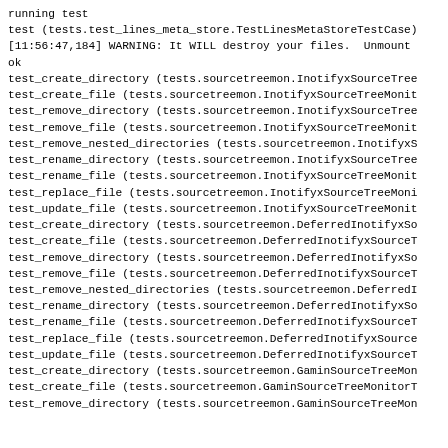running test
test (tests.test_lines_meta_store.TestLinesMetaStoreTestCase)
[11:56:47,184] WARNING: It WILL destroy your files.  Unmount
ok
test_create_directory (tests.sourcetreemon.InotifyxSourceTree
test_create_file (tests.sourcetreemon.InotifyxSourceTreeMonit
test_remove_directory (tests.sourcetreemon.InotifyxSourceTree
test_remove_file (tests.sourcetreemon.InotifyxSourceTreeMonit
test_remove_nested_directories (tests.sourcetreemon.InotifyxS
test_rename_directory (tests.sourcetreemon.InotifyxSourceTree
test_rename_file (tests.sourcetreemon.InotifyxSourceTreeMonit
test_replace_file (tests.sourcetreemon.InotifyxSourceTreeMoni
test_update_file (tests.sourcetreemon.InotifyxSourceTreeMonit
test_create_directory (tests.sourcetreemon.DeferredInotifyxSo
test_create_file (tests.sourcetreemon.DeferredInotifyxSourceT
test_remove_directory (tests.sourcetreemon.DeferredInotifyxSo
test_remove_file (tests.sourcetreemon.DeferredInotifyxSourceT
test_remove_nested_directories (tests.sourcetreemon.DeferredI
test_rename_directory (tests.sourcetreemon.DeferredInotifyxSo
test_rename_file (tests.sourcetreemon.DeferredInotifyxSourceT
test_replace_file (tests.sourcetreemon.DeferredInotifyxSource
test_update_file (tests.sourcetreemon.DeferredInotifyxSourceT
test_create_directory (tests.sourcetreemon.GaminSourceTreeMon
test_create_file (tests.sourcetreemon.GaminSourceTreeMonitorT
test_remove_directory (tests.sourcetreemon.GaminSourceTreeMon